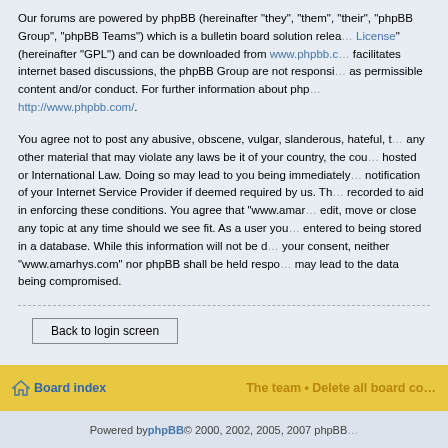Our forums are powered by phpBB (hereinafter "they", "them", "their", "phpBB Group", "phpBB Teams") which is a bulletin board solution released under the "GNU General Public License" (hereinafter "GPL") and can be downloaded from www.phpbb.com. The phpBB software only facilitates internet based discussions, the phpBB Group are not responsible for what we allow and/or disallow as permissible content and/or conduct. For further information about phpBB, please see: http://www.phpbb.com/.
You agree not to post any abusive, obscene, vulgar, slanderous, hateful, threatening, sexually-orientated or any other material that may violate any laws be it of your country, the country where "www.amarhys.com" is hosted or International Law. Doing so may lead to you being immediately and permanently banned, with notification of your Internet Service Provider if deemed required by us. The IP address of all posts are recorded to aid in enforcing these conditions. You agree that "www.amarhys.com" have the right to remove, edit, move or close any topic at any time should we see fit. As a user you agree to any information you have entered to being stored in a database. While this information will not be disclosed to any third party without your consent, neither "www.amarhys.com" nor phpBB shall be held responsible for any hacking attempt that may lead to the data being compromised.
Back to login screen
Board index
The team • Delete all board cookies • All times are UTC
Powered by phpBB © 2000, 2002, 2005, 2007 phpBB Group